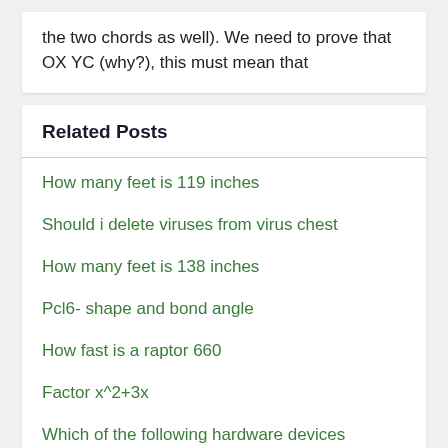the two chords as well). We need to prove that OX YC (why?), this must mean that
Related Posts
How many feet is 119 inches
Should i delete viruses from virus chest
How many feet is 138 inches
Pcl6- shape and bond angle
How fast is a raptor 660
Factor x^2+3x
Which of the following hardware devices regenerates